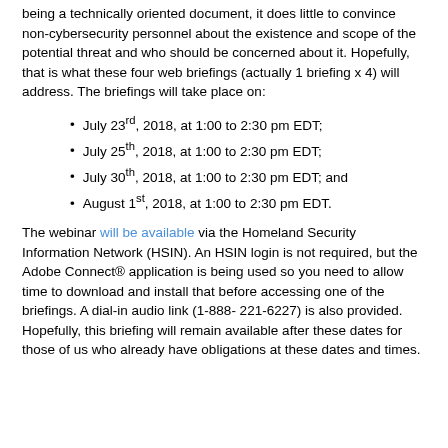being a technically oriented document, it does little to convince non-cybersecurity personnel about the existence and scope of the potential threat and who should be concerned about it. Hopefully, that is what these four web briefings (actually 1 briefing x 4) will address. The briefings will take place on:
July 23rd, 2018, at 1:00 to 2:30 pm EDT;
July 25th, 2018, at 1:00 to 2:30 pm EDT;
July 30th, 2018, at 1:00 to 2:30 pm EDT; and
August 1st, 2018, at 1:00 to 2:30 pm EDT.
The webinar will be available via the Homeland Security Information Network (HSIN). An HSIN login is not required, but the Adobe Connect® application is being used so you need to allow time to download and install that before accessing one of the briefings. A dial-in audio link (1-888-221-6227) is also provided. Hopefully, this briefing will remain available after these dates for those of us who already have obligations at these dates and times.